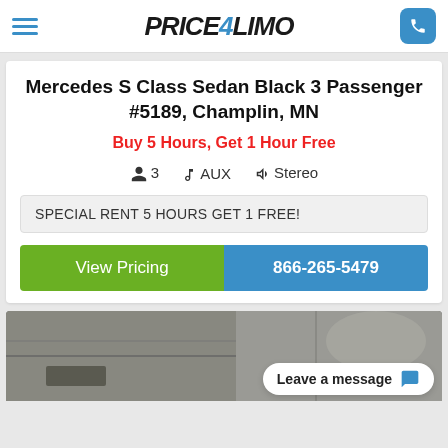PRICE4LIMO
Mercedes S Class Sedan Black 3 Passenger #5189, Champlin, MN
Buy 5 Hours, Get 1 Hour Free
3  AUX  Stereo
SPECIAL RENT 5 HOURS GET 1 FREE!
View Pricing  866-265-5479
[Figure (photo): Interior of a limousine vehicle showing ceiling and seats]
Leave a message